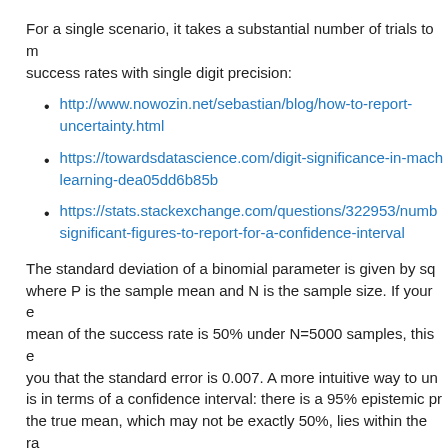For a single scenario, it takes a substantial number of trials to measure success rates with single digit precision:
http://www.nowozin.net/sebastian/blog/how-to-report-uncertainty.html
https://towardsdatascience.com/digit-significance-in-machine-learning-dea05dd6b85b
https://stats.stackexchange.com/questions/322953/number-of-significant-figures-to-report-for-a-confidence-interval
The standard deviation of a binomial parameter is given by sqrt(P*(1-P)/N), where P is the sample mean and N is the sample size. If your estimate of the mean of the success rate is 50% under N=5000 samples, this equation tells you that the standard error is 0.007. A more intuitive way to understand this is in terms of a confidence interval: there is a 95% epistemic probability that the true mean, which may not be exactly 50%, lies within the range [50 - 1.3, 50 + 1.3].
5000 trials is a lot of work! Rarely do real robotics experiments